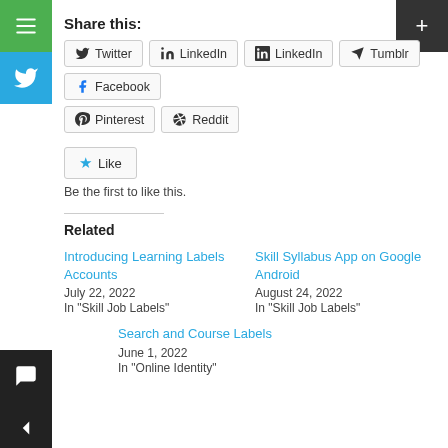Share this:
Twitter LinkedIn Tumblr Facebook Pinterest Reddit
Like
Be the first to like this.
Related
Introducing Learning Labels Accounts
July 22, 2022
In "Skill Job Labels"
Skill Syllabus App on Google Android
August 24, 2022
In "Skill Job Labels"
Search and Course Labels
June 1, 2022
In "Online Identity"